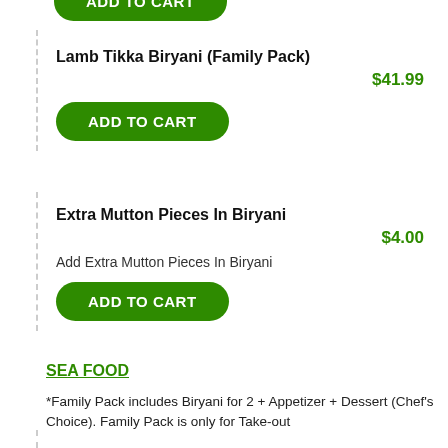[Figure (other): Partial green ADD TO CART button visible at top of page (cropped)]
Lamb Tikka Biryani (Family Pack)
$41.99
[Figure (other): Green ADD TO CART button]
Extra Mutton Pieces In Biryani
$4.00
Add Extra Mutton Pieces In Biryani
[Figure (other): Green ADD TO CART button]
SEA FOOD
*Family Pack includes Biryani for 2 + Appetizer + Dessert (Chef's Choice). Family Pack is only for Take-out